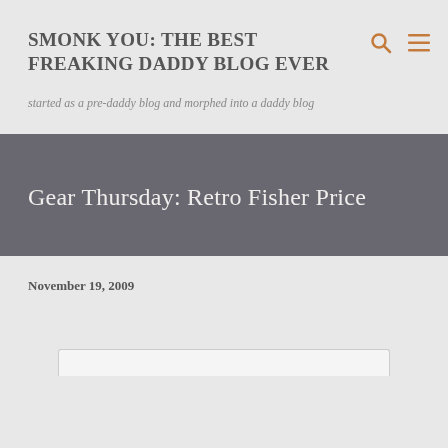SMONK YOU: THE BEST FREAKING DADDY BLOG EVER
started as a pre-daddy blog and morphed into a daddy blog
Gear Thursday: Retro Fisher Price
November 19, 2009